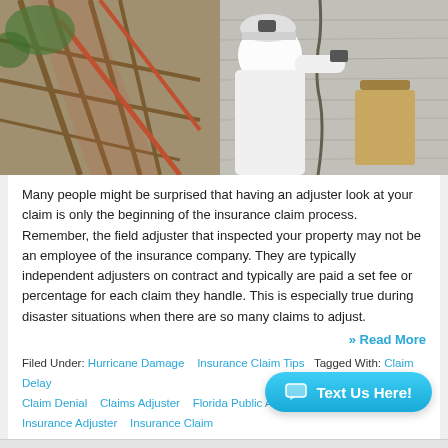[Figure (photo): A building inspector or insurance adjuster in a white hard hat and white jacket inspecting a damaged building exterior, holding a clipboard, photographing damage on a wall. Left side shows damaged wooden structure/scaffolding with trees in background.]
Many people might be surprised that having an adjuster look at your claim is only the beginning of the insurance claim process. Remember, the field adjuster that inspected your property may not be an employee of the insurance company. They are typically independent adjusters on contract and typically are paid a set fee or percentage for each claim they handle. This is especially true during disaster situations when there are so many claims to adjust.
» Read More
Filed Under: Hurricane Damage   Insurance Claim Tips   Tagged With: Claim Delay   Claim Denial   Claims Adjuster   Florida Public Adjuster   Insurance Adjuster   Insurance Claim